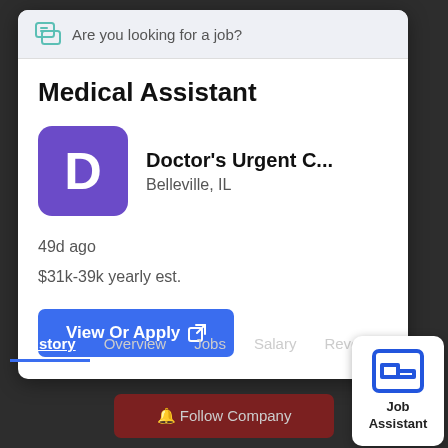Are you looking for a job?
Medical Assistant
Doctor's Urgent C...
Belleville, IL
49d ago
$31k-39k yearly est.
View Or Apply
History  Overview  Jobs  Salary  Revenue
Follow Company
Job
Assistant